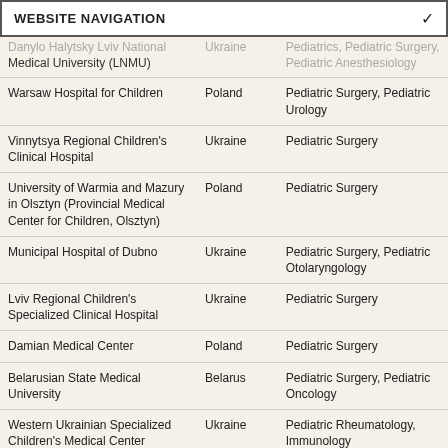WEBSITE NAVIGATION
| Institution | Country | Specialties |
| --- | --- | --- |
| Danylo Halytsky Lviv National Medical University (LNMU) | Ukraine | Pediatrics, Pediatric Surgery, Pediatric Anesthesiology |
| Warsaw Hospital for Children | Poland | Pediatric Surgery, Pediatric Urology |
| Vinnytsya Regional Children's Clinical Hospital | Ukraine | Pediatric Surgery |
| University of Warmia and Mazury in Olsztyn (Provincial Medical Center for Children, Olsztyn) | Poland | Pediatric Surgery |
| Municipal Hospital of Dubno | Ukraine | Pediatric Surgery, Pediatric Otolaryngology |
| Lviv Regional Children's Specialized Clinical Hospital | Ukraine | Pediatric Surgery |
| Damian Medical Center | Poland | Pediatric Surgery |
| Belarusian State Medical University | Belarus | Pediatric Surgery, Pediatric Oncology |
| Western Ukrainian Specialized Children's Medical Center | Ukraine | Pediatric Rheumatology, Immunology |
| Military Institute of Hygiene and Epidemiology, Center for Radiobiology and Radiation Safety, Warsaw | Poland | Pediatric Radiation Oncology |
| Medical University of Bialystok | Poland | Pediatric |